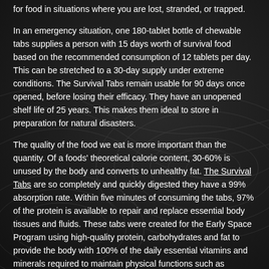for food in situations where you are lost, stranded, or trapped.
In an emergency situation, one 180-tablet bottle of chewable tabs supplies a person with 15 days worth of survival food based on the recommended consumption of 12 tablets per day. This can be stretched to a 30-day supply under extreme conditions. The Survival Tabs remain usable for 90 days once opened, before losing their efficacy. They have an unopened shelf life of 25 years. This makes them ideal to store in preparation for natural disasters.
The quality of the food we eat is more important than the quantity. Of a foods' theoretical calorie content, 30-60% is unused by the body and converts to unhealthy fat. The Survival Tabs are so completely and quickly digested they have a 99% absorption rate. Within five minutes of consuming the tabs, 97% of the protein is available to repair and replace essential body tissues and fluids. These tabs were created for the Early Space Program using high-quality protein, carbohydrates and fat to provide the body with 100% of the daily essential vitamins and minerals required to maintain physical functions such as